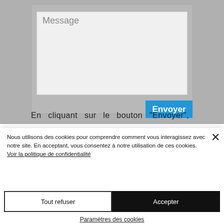[Figure (screenshot): Website contact form screenshot showing a message textarea with placeholder text 'Message', a grey background form area, and a blue 'Envoyer' (Send) button. Partially visible text at the bottom reads 'En cliquant sur le bouton "Envoyer" de ce'.]
Nous utilisons des cookies pour comprendre comment vous interagissez avec notre site. En acceptant, vous consentez à notre utilisation de ces cookies. Voir la politique de confidentialité
Tout refuser
Accepter
Paramètres des cookies